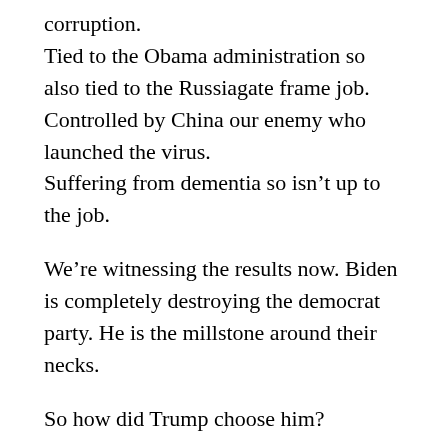corruption.
Tied to the Obama administration so also tied to the Russiagate frame job.
Controlled by China our enemy who launched the virus.
Suffering from dementia so isn’t up to the job.
We’re witnessing the results now. Biden is completely destroying the democrat party. He is the millstone around their necks.
So how did Trump choose him?
Trump knows the media. He also knows the enemy.
He knows how to manipulate them cause he